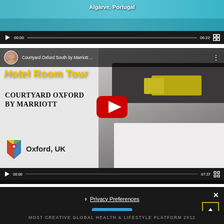[Figure (screenshot): Video player showing pool scene in Algarve, Portugal, with playback bar showing 00:00 / 06:22]
[Figure (screenshot): YouTube video thumbnail for 'Courtyard Oxford South by Marriott' hotel room tour video, showing hotel room with yellow pillows and white bed, with YouTube play button overlay, playback bar 00:00 / 07:37]
[Figure (screenshot): Cookie consent overlay with Privacy Preferences link, I Agree button, close X button, and scroll-to-top button]
MOST CREATIVE GLOBAL HEALTH LIFESTYLE PLATFORM 2012